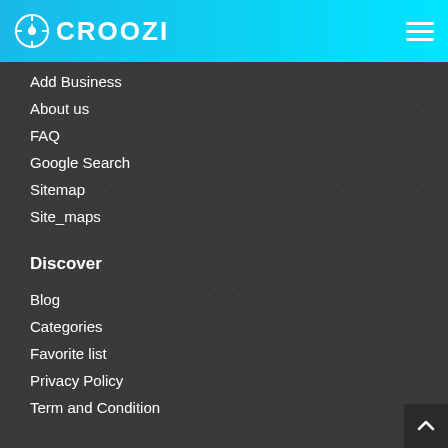CROOZI
Add Business
About us
FAQ
Google Search
Sitemap
Site_maps
Discover
Blog
Categories
Favorite list
Privacy Policy
Term and Condition
Newsletter
Join our newsletter to keep be informed about latest offers and news.